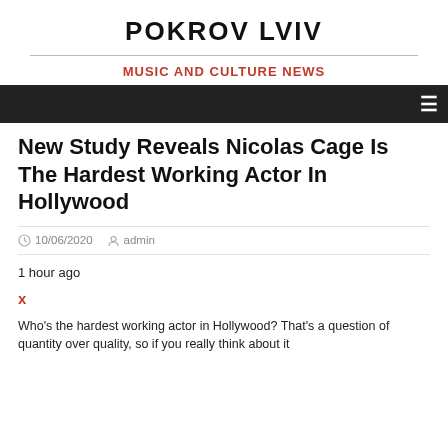POKROV LVIV
MUSIC AND CULTURE NEWS
New Study Reveals Nicolas Cage Is The Hardest Working Actor In Hollywood
10/06/2020   admin
1 hour ago
x
Who’s the hardest working actor in Hollywood? That’s a question of quantity over quality, so if you really think about it